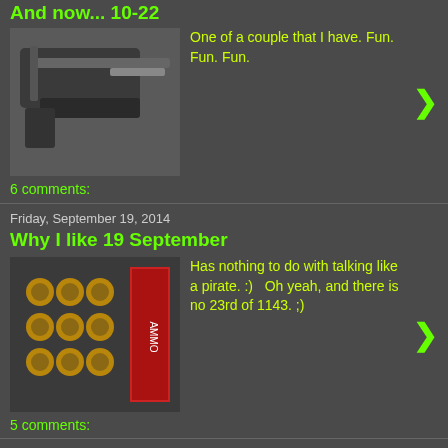And now... 10-22
[Figure (photo): Photo of a firearm (10-22 rifle) on a surface]
One of a couple that I have. Fun. Fun. Fun.
6 comments:
Friday, September 19, 2014
Why I like 19 September
[Figure (photo): Photo of ammunition rounds (bullets) in a box]
Has nothing to do with talking like a pirate. :)   Oh yeah, and there is no 23rd of 1143. ;)
5 comments:
Sunday, August 31, 2014
Brew Day Double Header
[Figure (photo): Photo of a brewing pot/kettle]
Brewed a Black IPA extract and a Surly Cynic partial mash, both are kits from Northern Brewer. We'll see how this goes, first time mash...